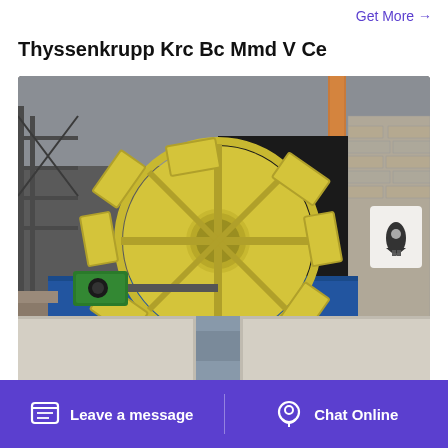Get More →
Thyssenkrupp Krc Bc Mmd V Ce
[Figure (photo): Industrial photo of a large yellow bucket-wheel or paddle-wheel machine mounted on blue metal frame, surrounded by concrete basins and construction/industrial site with brick walls and steel structures in the background.]
2021118 mmd v thyssenkrupp crusher mmd iron ore